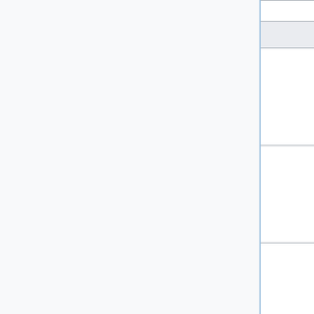| Time | Event | Owner |
| --- | --- | --- |
| 17:00 PDT |  | (Urban... |
| Thursday, March 19 |  |  |
| 00:00–01:00 UTC
#
(Wed)
17:00–18:00 PDT | Phabricator update | Mukun...
(twent... |
| 11:00–12:00 UTC
#
04:00–05:00 PDT | European Mid-day SWAT
(Max 6 patches) | Amir (A...
(Lucas...
Adam (...
Martin ... |
| 12:00–13:00 UTC
#
05:00–06:00 PDT | Pre MediaWiki train sanity break |  |